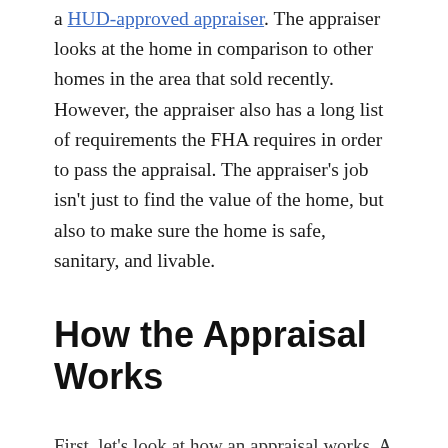a HUD-approved appraiser. The appraiser looks at the home in comparison to other homes in the area that sold recently. However, the appraiser also has a long list of requirements the FHA requires in order to pass the appraisal. The appraiser's job isn't just to find the value of the home, but also to make sure the home is safe, sanitary, and livable.
How the Appraisal Works
First, let's look at how an appraisal works. A professional appraiser will come out and look at the home. This is not to be confused with an